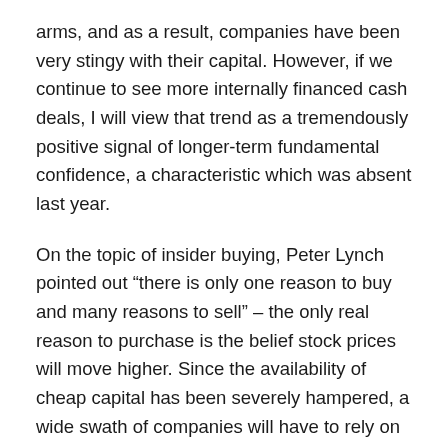arms, and as a result, companies have been very stingy with their capital. However, if we continue to see more internally financed cash deals, I will view that trend as a tremendously positive signal of longer-term fundamental confidence, a characteristic which was absent last year.
On the topic of insider buying, Peter Lynch pointed out “there is only one reason to buy and many reasons to sell” – the only real reason to purchase is the belief stock prices will move higher. Since the availability of cheap capital has been severely hampered, a wide swath of companies will have to rely on their own cash generation – not OPM. Since outside capital is scarce, the companies with cash flexibility will be more prudent in their M&A due diligence.
Overall, James Stewart may be right about the